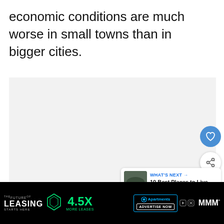economic conditions are much worse in small towns than in bigger cities.
[Figure (screenshot): Gray placeholder content area below the text]
[Figure (infographic): Heart (favorite) button, blue circle with heart icon]
[Figure (infographic): Share button, white circle with share icon]
[Figure (screenshot): What's Next card showing '10 Best Places to Live in...' with thumbnail image]
[Figure (screenshot): Advertisement banner: THE FUTURE OF LEASING | 4.5X MORE LEASES | Apartments.com ADVERTISE NOW]